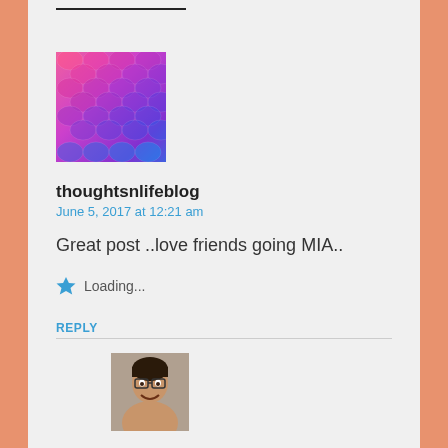[Figure (illustration): Colorful abstract avatar with pink, magenta, purple gradient scale pattern]
thoughtsnlifeblog
June 5, 2017 at 12:21 am
Great post ..love friends going MIA..
Loading...
REPLY
[Figure (photo): Photo of Michelle Malone, a smiling woman with short hair and glasses]
Michelle Malone